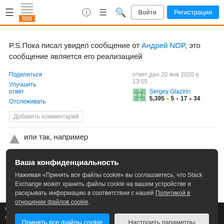Stack Overflow — Войти | Регистрация
P.S.Пока писал увидел сообщение от Андрей NOP, это сообщение является его реализацией
Поделиться
Улучшить ответ
Отслеживать
Добавить комментарий
ответ дан 20 янв 2020 в 13:05
Sergey Glazirin
5,395 ● 5 ● 17 ● 34
или так, например
Ваша конфиденциальность
Нажимая «Принять все файлы cookie» вы соглашаетесь, что Stack Exchange может хранить файлы cookie на вашем устройстве и раскрывать информацию в соответствии с нашей Политикой в отношении файлов cookie.
Принять все файлы cookie
Настроить параметры
checkbox[1].addEventListener('click', ch
checkbox[2].addEventListener('click', ch